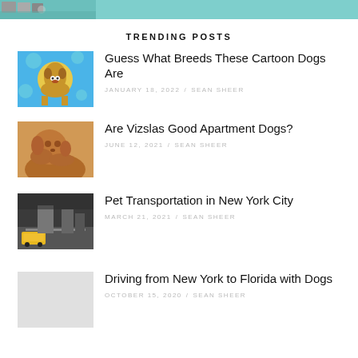TRENDING POSTS
Guess What Breeds These Cartoon Dogs Are — JANUARY 18, 2022 / SEAN SHEER
Are Vizslas Good Apartment Dogs? — JUNE 12, 2021 / SEAN SHEER
Pet Transportation in New York City — MARCH 21, 2021 / SEAN SHEER
Driving from New York to Florida with Dogs — OCTOBER 15, 2020 / SEAN SHEER